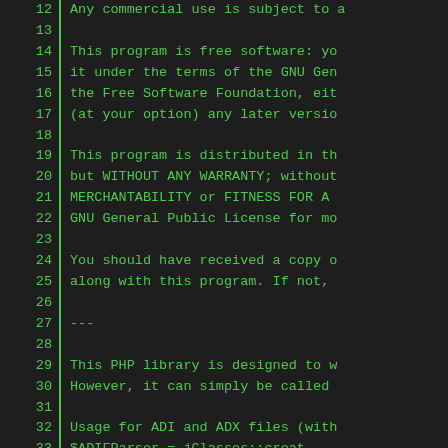Source code listing lines 12-37, showing GPL license header and PHP library usage comment block.